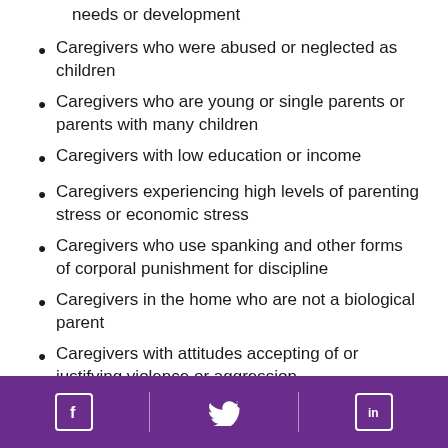needs or development
Caregivers who were abused or neglected as children
Caregivers who are young or single parents or parents with many children
Caregivers with low education or income
Caregivers experiencing high levels of parenting stress or economic stress
Caregivers who use spanking and other forms of corporal punishment for discipline
Caregivers in the home who are not a biological parent
Caregivers with attitudes accepting of or justifying violence or aggression
Facebook | Twitter | LinkedIn